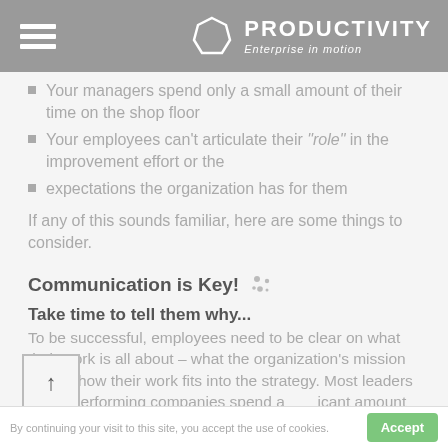PRODUCTIVITY Enterprise in motion
Your managers spend only a small amount of their time on the shop floor
Your employees can't articulate their "role" in the improvement effort or the
expectations the organization has for them
If any of this sounds familiar, here are some things to consider.
Communication is Key!
Take time to tell them why...
To be successful, employees need to be clear on what their work is all about – what the organization's mission is, and how their work fits into the strategy. Most leaders of top-performing companies spend a significant amount of time communicating... and stories. You must facilitate employees'
By continuing your visit to this site, you accept the use of cookies.